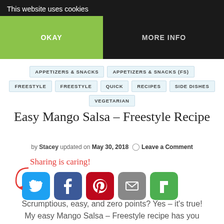This website uses cookies
OKAY
MORE INFO
APPETIZERS & SNACKS
APPETIZERS & SNACKS (FS)
FREESTYLE
FREESTYLE
QUICK
RECIPES
SIDE DISHES
VEGETARIAN
Easy Mango Salsa – Freestyle Recipe
by Stacey updated on May 30, 2018 ○ Leave a Comment
[Figure (other): Sharing is caring! with social media icons: Twitter, Facebook, Pinterest, Email, Flipboard]
Scrumptious, easy, and zero points? Yes – it's true!
My easy Mango Salsa – Freestyle recipe has you